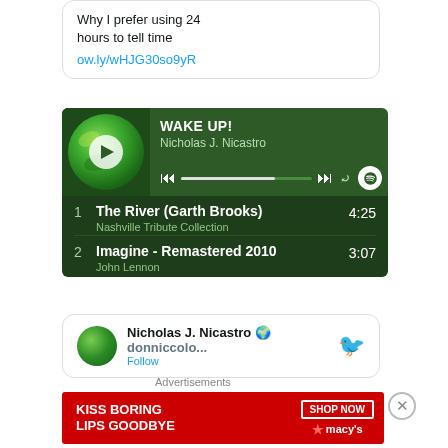Why I prefer using 24 hours to tell time
ow.ly/wHJG30so9yR
[Figure (screenshot): Spotify player widget showing playlist 'WAKE UP!' by Nicholas J. Nicastro with globe album art, play controls, and tracklist including 'The River (Garth Brooks)' 4:25 by Nashville Tribute Collection and 'Imagine - Remastered 2010' 3:07 by John Lennon]
Nicholas J. Nicastro 🌍 donniccolo...
[Figure (screenshot): Macy's advertisement banner: KISS BORING LIPS GOODBYE with SHOP NOW button and Macy's star logo]